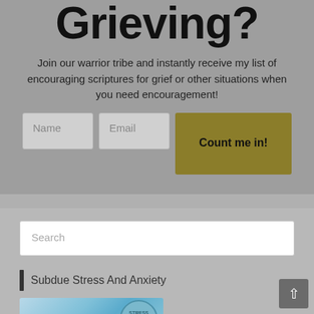Grieving?
Join our warrior tribe and instantly receive my list of encouraging scriptures for grief or other situations when you need encouragement!
[Figure (screenshot): Web form with Name and Email input fields and a gold 'Count me in!' submit button]
[Figure (screenshot): Search input box with placeholder text 'Search']
Subdue Stress And Anxiety
[Figure (photo): Thumbnail image with blue/teal background showing a circular emblem with text related to stress]